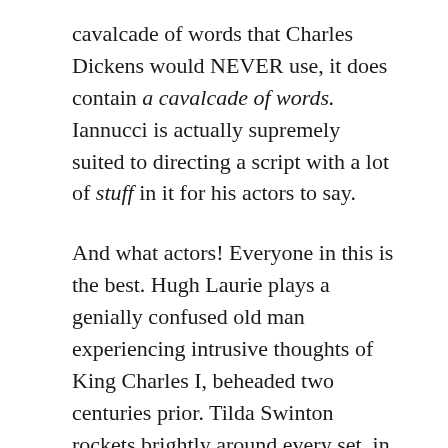cavalcade of words that Charles Dickens would NEVER use, it does contain a cavalcade of words. Iannucci is actually supremely suited to directing a script with a lot of stuff in it for his actors to say.
And what actors! Everyone in this is the best. Hugh Laurie plays a genially confused old man experiencing intrusive thoughts of King Charles I, beheaded two centuries prior. Tilda Swinton rockets brightly around every set, in between caterwauling off after donkeys in a field. You have never seen Ben Whishaw deliver a performance as sickening (not the gay definition) as his Uriah Heep. Gwendoline Christie plays an ice woman dressed in black and seven feet tall, and Peter Capaldi plays an orchestrina, badly. I had never seen Rosalind Eleazar in anything before but holy moly is she a delight...